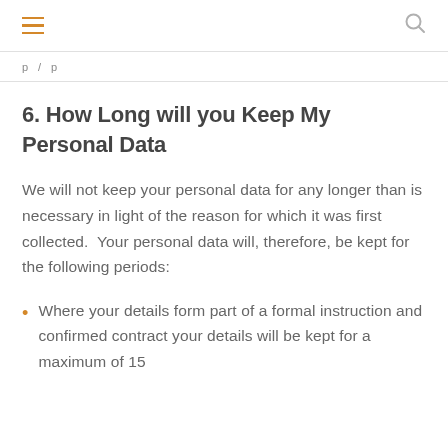≡  [search icon]
p  /  p
6. How Long will you Keep My Personal Data
We will not keep your personal data for any longer than is necessary in light of the reason for which it was first collected.  Your personal data will, therefore, be kept for the following periods:
Where your details form part of a formal instruction and confirmed contract your details will be kept for a maximum of 15